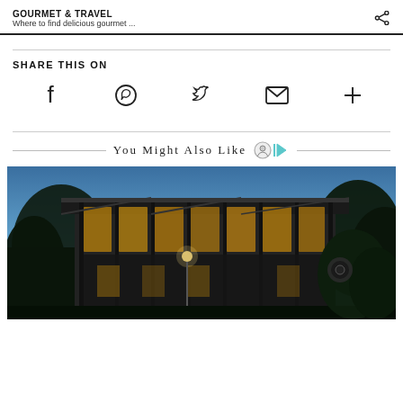GOURMET & TRAVEL
Where to find delicious gourmet ...
SHARE THIS ON
[Figure (infographic): Social sharing icons row: Facebook, WhatsApp, Twitter, Email, More (+)]
You Might Also Like
[Figure (photo): Modern glass building with steel frame exterior photographed at dusk/twilight with blue sky and trees]